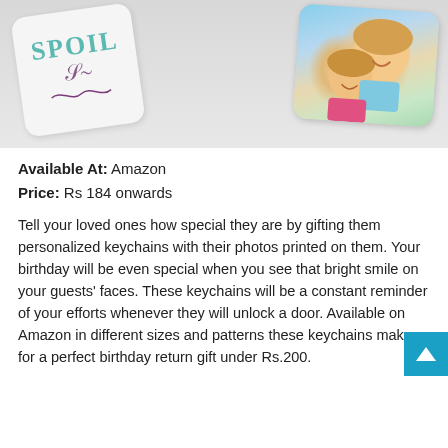[Figure (photo): Photo showing two personalized keychains: one white card with 'SPOIL' text in teal and decorative purple swirls, and one showing a smiling child being carried on another child's back]
Available At: Amazon
Price: Rs 184 onwards
Tell your loved ones how special they are by gifting them personalized keychains with their photos printed on them. Your birthday will be even special when you see that bright smile on your guests' faces. These keychains will be a constant reminder of your efforts whenever they will unlock a door. Available on Amazon in different sizes and patterns these keychains make for a perfect birthday return gift under Rs.200.